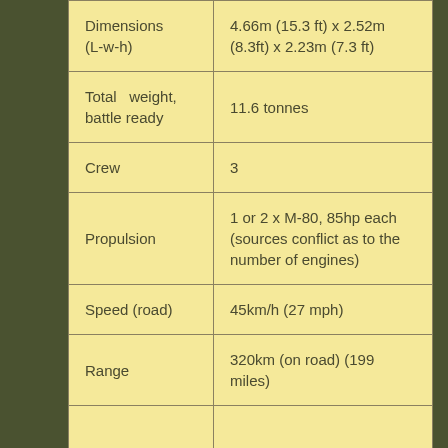| Specification | Value |
| --- | --- |
| Dimensions (L-w-h) | 4.66m (15.3 ft) x 2.52m (8.3ft) x 2.23m (7.3 ft) |
| Total weight, battle ready | 11.6 tonnes |
| Crew | 3 |
| Propulsion | 1 or 2 x M-80, 85hp each (sources conflict as to the number of engines) |
| Speed (road) | 45km/h (27 mph) |
| Range | 320km (on road) (199 miles) |